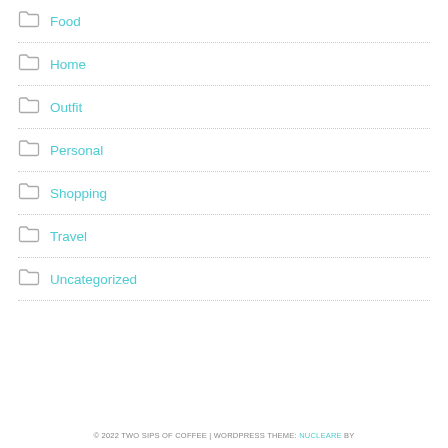Food
Home
Outfit
Personal
Shopping
Travel
Uncategorized
© 2022 TWO SIPS OF COFFEE | WORDPRESS THEME: NUCLEARE BY